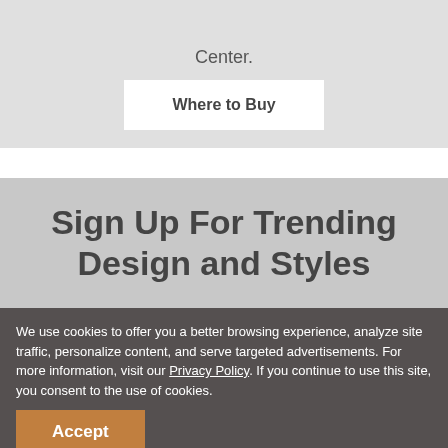Center.
Where to Buy
Sign Up For Trending Design and Styles
We use cookies to offer you a better browsing experience, analyze site traffic, personalize content, and serve targeted advertisements. For more information, visit our Privacy Policy. If you continue to use this site, you consent to the use of cookies.
Accept